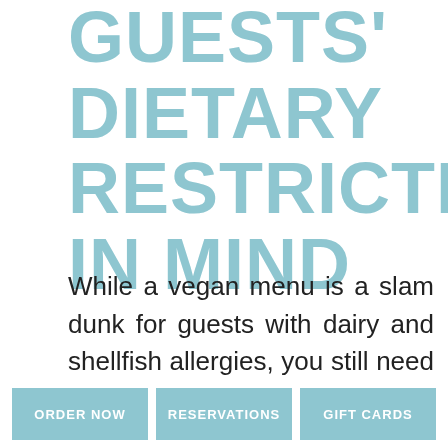DO: KEEP YOUR GUESTS' DIETARY RESTRICTIONS IN MIND
While a vegan menu is a slam dunk for guests with dairy and shellfish allergies, you still need to ask all of your guests if they have any dietary restrictions. Nothing kills the vibe of a wedding
ORDER NOW   RESERVATIONS   GIFT CARDS